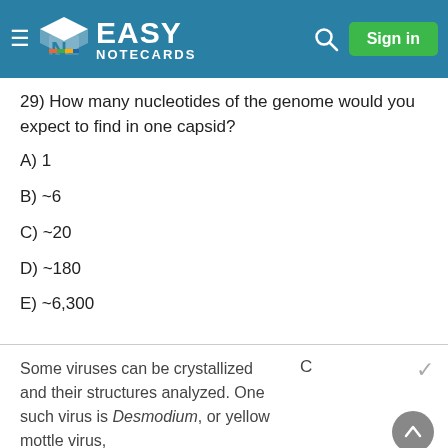Easy Notecards — Sign in
29) How many nucleotides of the genome would you expect to find in one capsid?
A) 1
B) ~6
C) ~20
D) ~180
E) ~6,300
Some viruses can be crystallized and their structures analyzed. One such virus is Desmodium, or yellow mottle virus,
C
✓